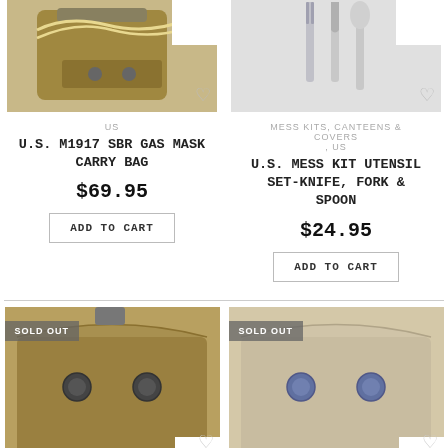[Figure (photo): U.S. M1917 SBR Gas Mask Carry Bag product photo - tan/khaki bag with rope strap]
US
U.S. M1917 SBR GAS MASK CARRY BAG
$69.95
ADD TO CART
[Figure (photo): U.S. Mess Kit Utensil Set - knife, fork & spoon product photo - metal utensils]
MESS KITS, CANTEENS & COVERS , US
U.S. MESS KIT UTENSIL SET-KNIFE, FORK & SPOON
$24.95
ADD TO CART
[Figure (photo): Sold out - olive/khaki canvas pouch with two metal snaps - front view]
[Figure (photo): Sold out - tan/beige canvas pouch with two metal snaps - front view]